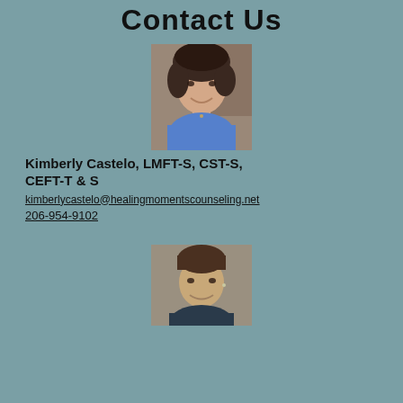Contact Us
[Figure (photo): Headshot photo of Kimberly Castelo, a woman with dark curly hair wearing a blue top, smiling]
Kimberly Castelo, LMFT-S, CST-S, CEFT-T & S
kimberlycastelo@healingmomentscounseling.net
206-954-9102
[Figure (photo): Headshot photo of a man with short brown hair wearing a dark shirt, smiling, partially visible at bottom of page]